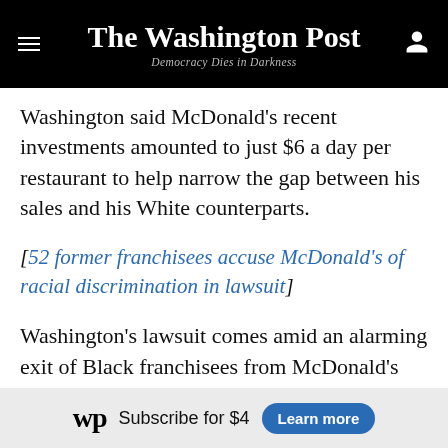The Washington Post — Democracy Dies in Darkness
Washington said McDonald's recent investments amounted to just $6 a day per restaurant to help narrow the gap between his sales and his White counterparts.
[52 former franchisees accuse McDonald's of racial discrimination in lawsuit]
Washington's lawsuit comes amid an alarming exit of Black franchisees from McDonald's and widespread allegations of racial bias. Last fall 52 Black former franchise owners sued McDonald's for setting them up to fail despite the company's public commitment to
[Figure (other): Washington Post subscription banner: WP logo, 'Subscribe for $4', 'Learn more' button]